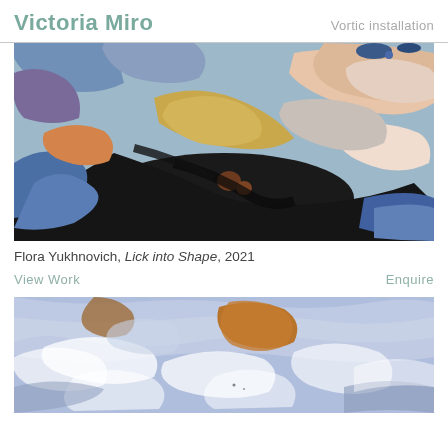Victoria Miro    Vortic installation
[Figure (photo): Abstract painting with blue, black, gold/yellow, peach, and brown brushstrokes - Flora Yukhnovich Lick into Shape 2021]
Flora Yukhnovich, Lick into Shape, 2021
View Work    Enquire
[Figure (photo): Abstract painting with soft blue, white, and brown brushstrokes - second artwork partially visible]